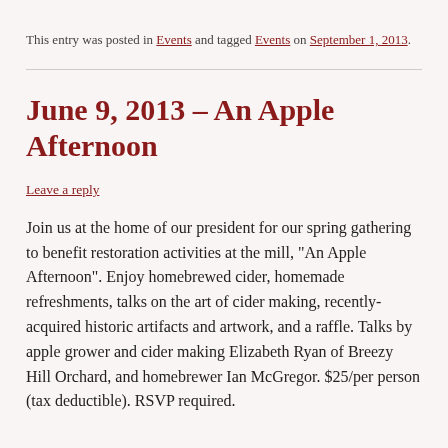This entry was posted in Events and tagged Events on September 1, 2013.
June 9, 2013 – An Apple Afternoon
Leave a reply
Join us at the home of our president for our spring gathering to benefit restoration activities at the mill, "An Apple Afternoon". Enjoy homebrewed cider, homemade refreshments, talks on the art of cider making, recently-acquired historic artifacts and artwork, and a raffle. Talks by apple grower and cider making Elizabeth Ryan of Breezy Hill Orchard, and homebrewer Ian McGregor. $25/per person (tax deductible). RSVP required.